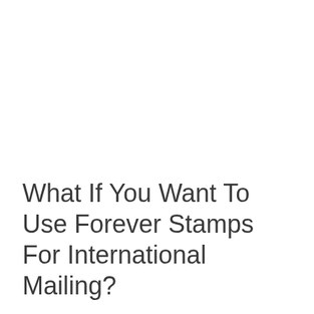What If You Want To Use Forever Stamps For International Mailing?